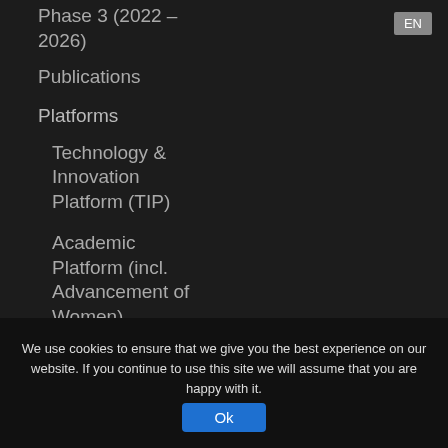Phase 3 (2022 – 2026)
Publications
Platforms
Technology & Innovation Platform (TIP)
Academic Platform (incl. Advancement of Women)
CHEOPS
We use cookies to ensure that we give you the best experience on our website. If you continue to use this site we will assume that you are happy with it.
Ok